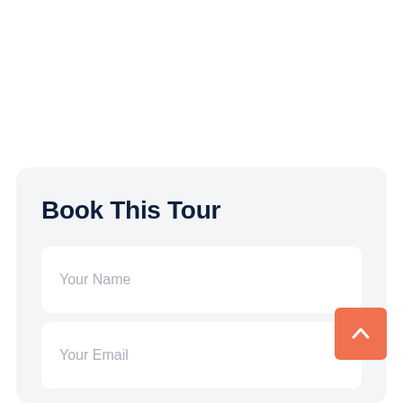Book This Tour
Your Name
Your Email